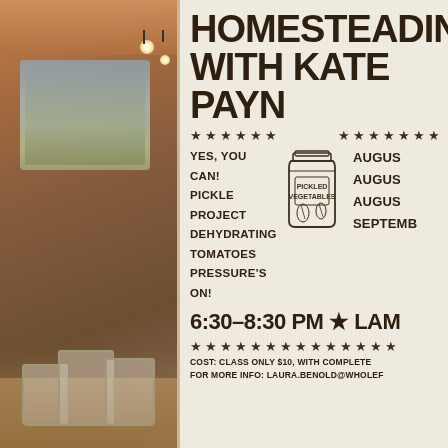[Figure (photo): Indoor cafe/store setting with warm lighting, pendant lights visible, window to outside with greenery, mason jars on a burlap-covered table in the foreground left side of image]
HOMESTEADING WITH KATE PAYNE
YES, YOU CAN!
PICKLE PROJECT
DEHYDRATING TOMATOES
PRESSURE'S ON!
AUGUST
AUGUST
AUGUST
SEPTEMBER
6:30–8:30 PM ★ LAM
COST: CLASS ONLY $10, WITH COMPLETE
FOR MORE INFO: LAURA.BENOLD@WHOLEFO